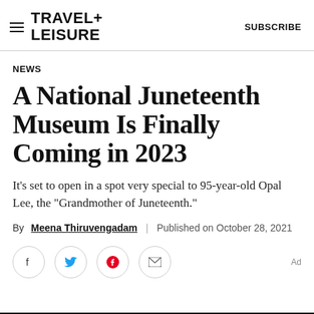TRAVEL+ LEISURE   SUBSCRIBE
NEWS
A National Juneteenth Museum Is Finally Coming in 2023
It's set to open in a spot very special to 95-year-old Opal Lee, the "Grandmother of Juneteenth."
By Meena Thiruvengadam | Published on October 28, 2021